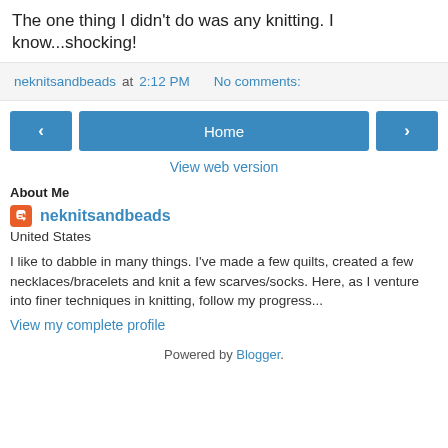The one thing I didn't do was any knitting. I know...shocking!
neknitsandbeads at 2:12 PM   No comments:
[Figure (screenshot): Navigation buttons: left arrow, Home, right arrow]
View web version
About Me
neknitsandbeads
United States
I like to dabble in many things. I've made a few quilts, created a few necklaces/bracelets and knit a few scarves/socks. Here, as I venture into finer techniques in knitting, follow my progress...
View my complete profile
Powered by Blogger.